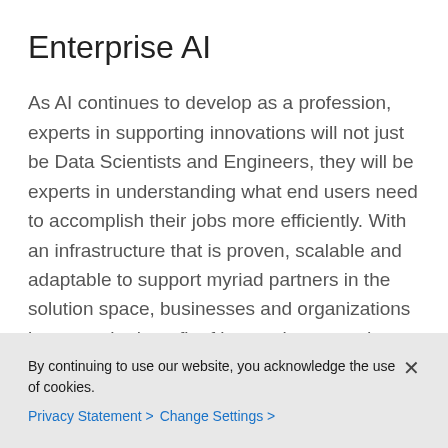Enterprise AI
As AI continues to develop as a profession, experts in supporting innovations will not just be Data Scientists and Engineers, they will be experts in understanding what end users need to accomplish their jobs more efficiently. With an infrastructure that is proven, scalable and adaptable to support myriad partners in the solution space, businesses and organizations increase the benefit of leveraging an end-to-end Enterprise AI approach that appropriately incorporates the four key ingredients for successful AI.
By continuing to use our website, you acknowledge the use of cookies.
Privacy Statement > Change Settings >